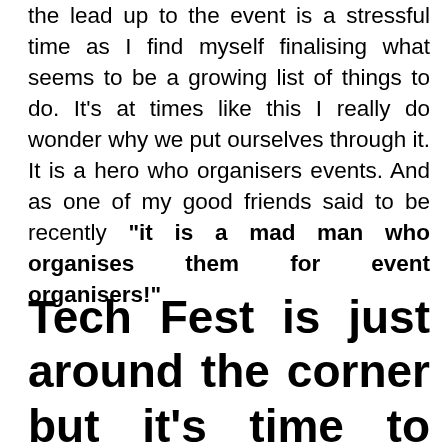the lead up to the event is a stressful time as I find myself finalising what seems to be a growing list of things to do. It's at times like this I really do wonder why we put ourselves through it. It is a hero who organisers events. And as one of my good friends said to be recently "it is a mad man who organises them for event organisers!"
Tech Fest is just around the corner but it's time to chill, no REALLY